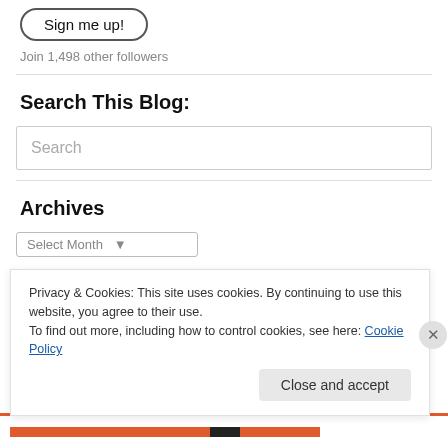[Figure (other): Sign me up! button with rounded pill border]
Join 1,498 other followers
Search This Blog:
[Figure (other): Search input box with placeholder text 'Search']
Archives
[Figure (other): Select Month dropdown (partially visible)]
Privacy & Cookies: This site uses cookies. By continuing to use this website, you agree to their use.
To find out more, including how to control cookies, see here: Cookie Policy
Close and accept